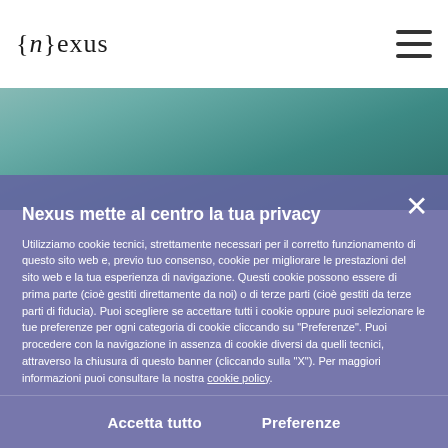[Figure (screenshot): Website header with {n}exus logo on the left and hamburger menu icon on the right, over a white navigation bar]
[Figure (photo): Teal/blue-green nature background image visible at the top of the page behind the cookie consent modal]
Nexus mette al centro la tua privacy
Utilizziamo cookie tecnici, strettamente necessari per il corretto funzionamento di questo sito web e, previo tuo consenso, cookie per migliorare le prestazioni del sito web e la tua esperienza di navigazione. Questi cookie possono essere di prima parte (cioè gestiti direttamente da noi) o di terze parti (cioè gestiti da terze parti di fiducia). Puoi scegliere se accettare tutti i cookie oppure puoi selezionare le tue preferenze per ogni categoria di cookie cliccando su "Preferenze". Puoi procedere con la navigazione in assenza di cookie diversi da quelli tecnici, attraverso la chiusura di questo banner (cliccando sulla "X"). Per maggiori informazioni puoi consultare la nostra cookie policy.
Accetta tutto
Preferenze